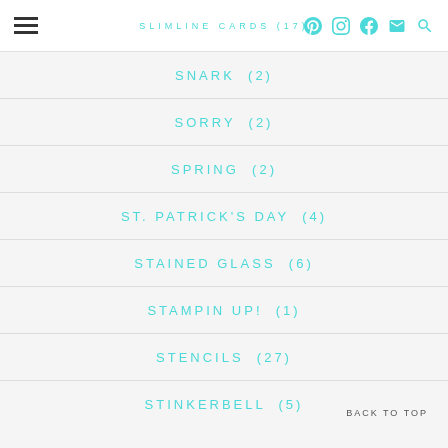SLIMLINE CARDS (17)
SNARK (2)
SORRY (2)
SPRING (2)
ST. PATRICK'S DAY (4)
STAINED GLASS (6)
STAMPIN UP! (1)
STENCILS (27)
STINKERBELL (5)
BACK TO TOP